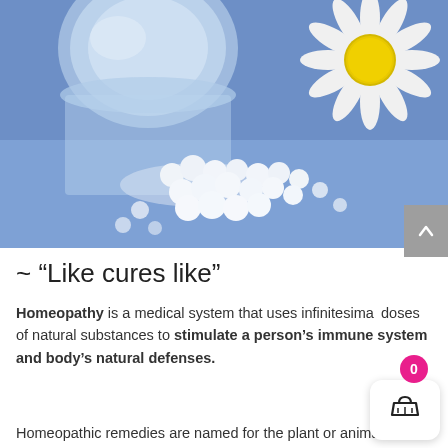[Figure (photo): Close-up photo of small white homeopathic remedy pills/globules spilling from a glass jar on a blue background, with a white daisy flower with yellow center in the upper right corner.]
~ “Like cures like”
Homeopathy is a medical system that uses infinitesimal doses of natural substances to stimulate a person’s immune system and body’s natural defenses.
Homeopathic remedies are named for the plant or animal